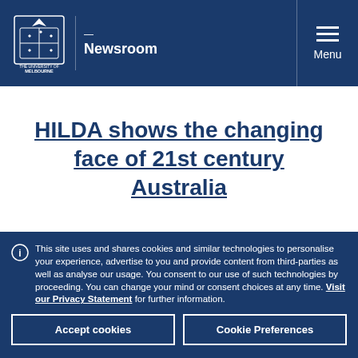Newsroom — The University of Melbourne
HILDA shows the changing face of 21st century Australia
This site uses and shares cookies and similar technologies to personalise your experience, advertise to you and provide content from third-parties as well as analyse our usage. You consent to our use of such technologies by proceeding. You can change your mind or consent choices at any time. Visit our Privacy Statement for further information.
Accept cookies
Cookie Preferences